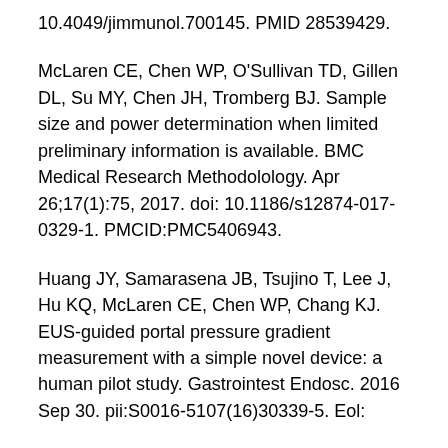10.4049/jimmunol.700145. PMID 28539429.
McLaren CE, Chen WP, O'Sullivan TD, Gillen DL, Su MY, Chen JH, Tromberg BJ. Sample size and power determination when limited preliminary information is available. BMC Medical Research Methodolology. Apr 26;17(1):75, 2017. doi: 10.1186/s12874-017-0329-1. PMCID:PMC5406943.
Huang JY, Samarasena JB, Tsujino T, Lee J, Hu KQ, McLaren CE, Chen WP, Chang KJ. EUS-guided portal pressure gradient measurement with a simple novel device: a human pilot study. Gastrointest Endosc. 2016 Sep 30. pii:S0016-5107(16)30339-5. doi: